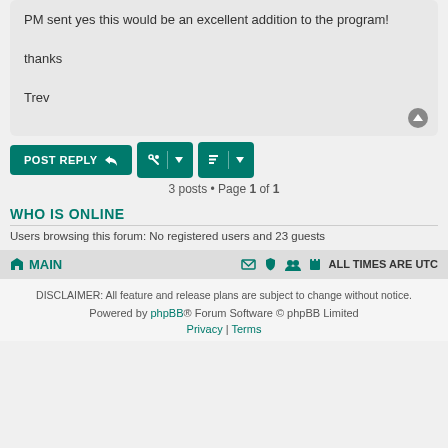PM sent yes this would be an excellent addition to the program!

thanks

Trev
3 posts • Page 1 of 1
WHO IS ONLINE
Users browsing this forum: No registered users and 23 guests
MAIN | ALL TIMES ARE UTC
DISCLAIMER: All feature and release plans are subject to change without notice.
Powered by phpBB® Forum Software © phpBB Limited
Privacy | Terms